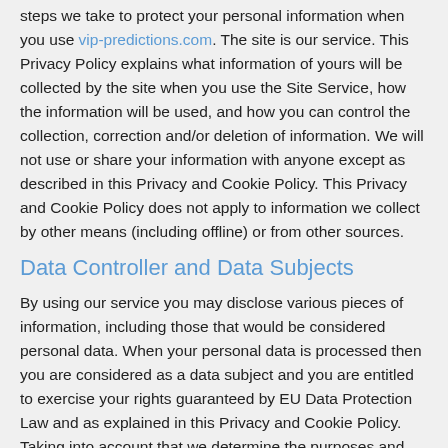steps we take to protect your personal information when you use vip-predictions.com. The site is our service. This Privacy Policy explains what information of yours will be collected by the site when you use the Site Service, how the information will be used, and how you can control the collection, correction and/or deletion of information. We will not use or share your information with anyone except as described in this Privacy and Cookie Policy. This Privacy and Cookie Policy does not apply to information we collect by other means (including offline) or from other sources.
Data Controller and Data Subjects
By using our service you may disclose various pieces of information, including those that would be considered personal data. When your personal data is processed then you are considered as a data subject and you are entitled to exercise your rights guaranteed by EU Data Protection Law and as explained in this Privacy and Cookie Policy. Taking into account that we determine the purposes and means of